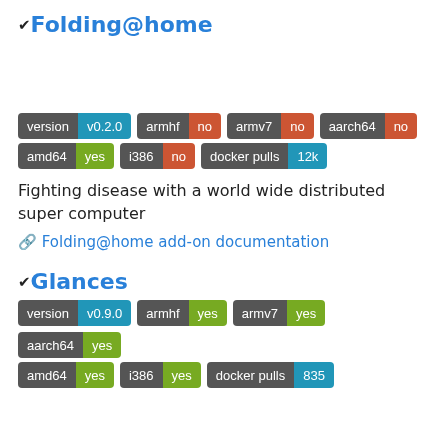✔ Folding@home
[Figure (screenshot): Empty image area below Folding@home title]
version v0.2.0  armhf no  armv7 no  aarch64 no  amd64 yes  i386 no  docker pulls 12k
Fighting disease with a world wide distributed super computer
🔗 Folding@home add-on documentation
✔ Glances
version v0.9.0  armhf yes  armv7 yes  aarch64 yes  amd64 yes  i386 yes  docker pulls 835